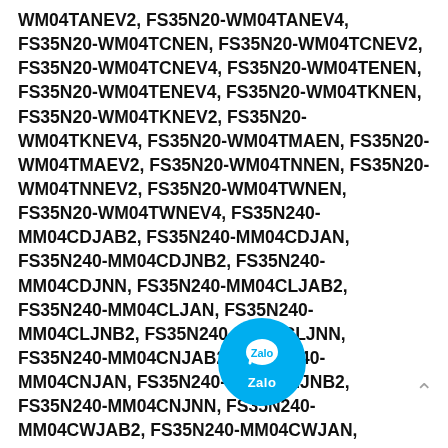WM04TANEV2, FS35N20-WM04TANEV4, FS35N20-WM04TCNEN, FS35N20-WM04TCNEV2, FS35N20-WM04TCNEV4, FS35N20-WM04TENEN, FS35N20-WM04TENEV4, FS35N20-WM04TKNEN, FS35N20-WM04TKNEV2, FS35N20-WM04TKNEV4, FS35N20-WM04TMAEN, FS35N20-WM04TMAEV2, FS35N20-WM04TNNEN, FS35N20-WM04TNNEV2, FS35N20-WM04TWNEN, FS35N20-WM04TWNEV4, FS35N240-MM04CDJAB2, FS35N240-MM04CDJAN, FS35N240-MM04CDJNB2, FS35N240-MM04CDJNN, FS35N240-MM04CLJAB2, FS35N240-MM04CLJAN, FS35N240-MM04CLJNB2, FS35N240-MM04CLJNN, FS35N240-MM04CNJAB2, FS35N240-MM04CNJAN, FS35N240-MM04CNJNB2, FS35N240-MM04CNJNN, FS35N240-MM04CWJAB2, FS35N240-MM04CWJAN, FS35N240-MM04CWJNB2, FS35N240-MM04CWJNN, FS35N240-MM04TANTB2, FS35N240-MM04TANTB4, FS35N240-MM04TANTJ2, FS35N240-MM04TANTJ4, FS35N240-MM04TANTN, FS35N240-MM04TCNTB2, FS35N240-MM04TCNTB4, FS35N240-MM04TCNTJ2, FS35N240-
[Figure (logo): Zalo app icon overlay — circular teal/cyan badge with white speech bubble icon and 'Zalo' text]